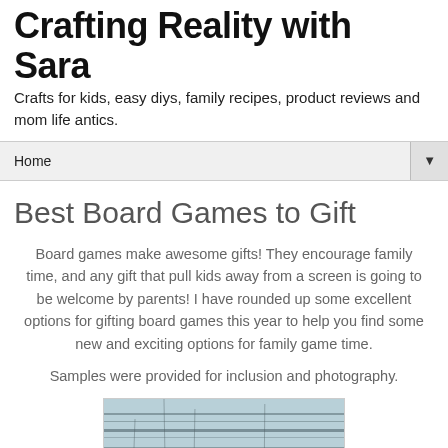Crafting Reality with Sara
Crafts for kids, easy diys, family recipes, product reviews and mom life antics.
Home
Best Board Games to Gift
Board games make awesome gifts! They encourage family time, and any gift that pull kids away from a screen is going to be welcome by parents! I have rounded up some excellent options for gifting board games this year to help you find some new and exciting options for family game time.
Samples were provided for inclusion and photography.
[Figure (photo): Photo of weathered blue/white painted wood surface, partially visible at the bottom of the page]